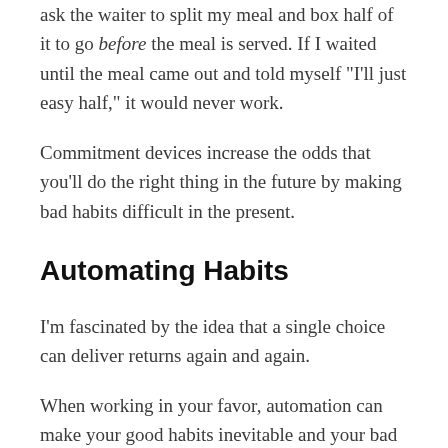ask the waiter to split my meal and box half of it to go before the meal is served. If I waited until the meal came out and told myself "I'll just easy half," it would never work.
Commitment devices increase the odds that you'll do the right thing in the future by making bad habits difficult in the present.
Automating Habits
I'm fascinated by the idea that a single choice can deliver returns again and again.
When working in your favor, automation can make your good habits inevitable and your bad habits impossible. It is the ultimate way to lock in future behavior rather than relying on willpower in the